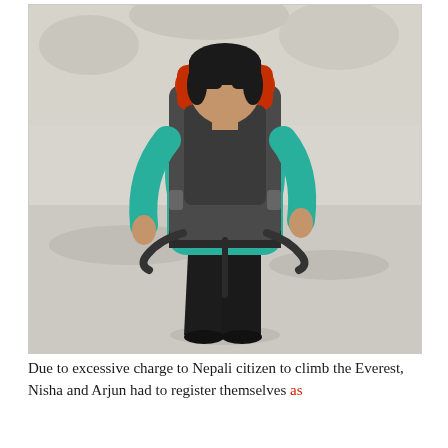[Figure (photo): A woman wearing a teal/turquoise long-sleeve athletic top and black pants with a large hiking backpack with red accents, walking on a light-colored rocky/sandy terrain. She is wearing sunglasses. The background shows rocks and a pale grey-white landscape.]
Due to excessive charge to Nepali citizen to climb the Everest, Nisha and Arjun had to register themselves as